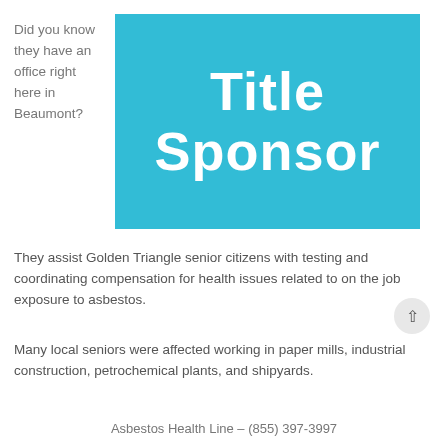Did you know they have an office right here in Beaumont?
[Figure (infographic): Teal/blue rectangle with white bold text reading 'Title Sponsor']
They assist Golden Triangle senior citizens with testing and coordinating compensation for health issues related to on the job exposure to asbestos.
Many local seniors were affected working in paper mills, industrial construction, petrochemical plants, and shipyards.
Asbestos Health Line – (855) 397-3997